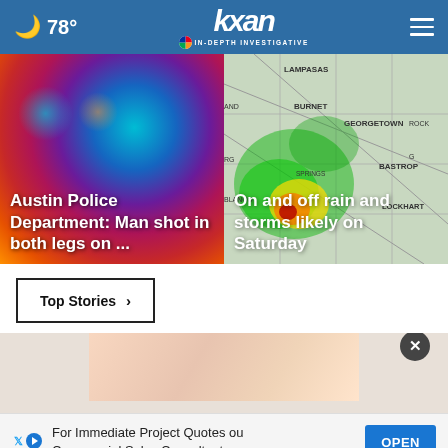78° kxan IN-DEPTH INVESTIGATIVE
[Figure (screenshot): News article card: blurred police lights (blue, red, pink, teal) with text overlay 'Austin Police Department: Man shot in both legs on ...']
[Figure (screenshot): News article card: weather radar map showing green storm areas over Central Texas near Georgetown, Burnet, Bastrop with text overlay 'On and off rain and storms likely on Saturday']
Top Stories ›
[Figure (photo): Partial photo preview at bottom of page, appears to show a person]
For Immediate Project Quotes ou Commercial Sales Consultants
OPEN